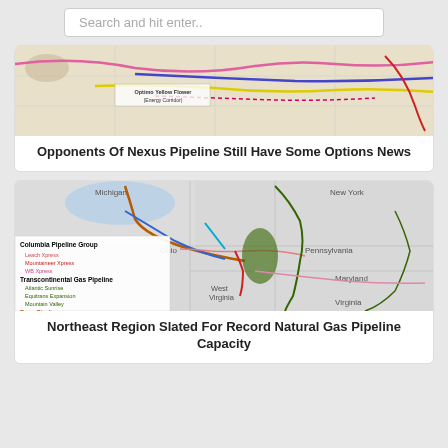Search and hit enter..
[Figure (map): Map showing pipeline routes with colored lines (pink, blue, yellow, magenta) across a regional area with label 'Optimo Yellow Flower (Energy Corridor)']
Opponents Of Nexus Pipeline Still Have Some Options News
[Figure (map): Map of northeastern US states (Michigan, New York, Pennsylvania, Ohio, West Virginia, Maryland, Virginia) showing multiple natural gas pipeline routes. Legend includes Columbia Pipeline Group (Leach Xpress, Mountaineer Xpress, WB Xpress), Transcontinental Gas Pipeline (Atlantic Sunrise, Equitrans Expansion, Mountain Valley), Rover Pipeline, NEXUS Pipeline (Nexus Pipeline, Appalachian Lease)]
Northeast Region Slated For Record Natural Gas Pipeline Capacity